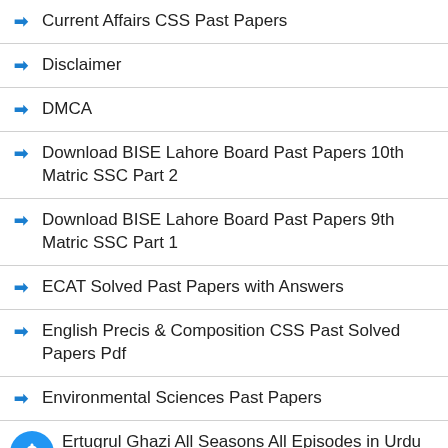Current Affairs CSS Past Papers
Disclaimer
DMCA
Download BISE Lahore Board Past Papers 10th Matric SSC Part 2
Download BISE Lahore Board Past Papers 9th Matric SSC Part 1
ECAT Solved Past Papers with Answers
English Precis & Composition CSS Past Solved Papers Pdf
Environmental Sciences Past Papers
Ertugrul Ghazi All Seasons All Episodes in Urdu Dubbing